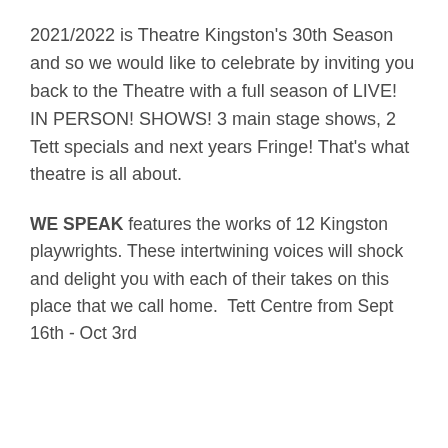2021/2022 is Theatre Kingston's 30th Season and so we would like to celebrate by inviting you back to the Theatre with a full season of LIVE! IN PERSON! SHOWS! 3 main stage shows, 2 Tett specials and next years Fringe! That's what theatre is all about.
WE SPEAK features the works of 12 Kingston playwrights. These intertwining voices will shock and delight you with each of their takes on this place that we call home.  Tett Centre from Sept 16th - Oct 3rd